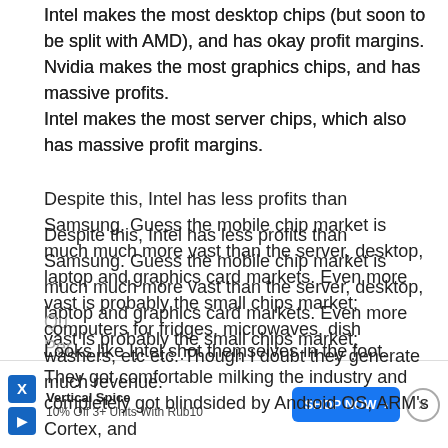Intel makes the most desktop chips (but soon to be split with AMD), and has okay profit margins.
Nvidia makes the most graphics chips, and has massive profits.
Intel makes the most server chips, which also has massive profit margins.
Despite this, Intel has less profits than Samsung. Guess the mobile chip market is much much more vast than the server, desktop, laptop and graphics card markets. Even more vast is probably the small chips market; computers for fridges, microwaves, dish washers, etc etc. Though I doubt they generate much revenue.
Looks like Intel shot themselves in the foot.
They got comfortable milking the industry and completely got blindsided by Android OS, ARM's Cortex, and
Qu... Per...
[Figure (infographic): Advertisement banner for Vertical Spice: '10% Off 3+ Units With Rub10' with a SHOP NOW button and a close (X) button.]